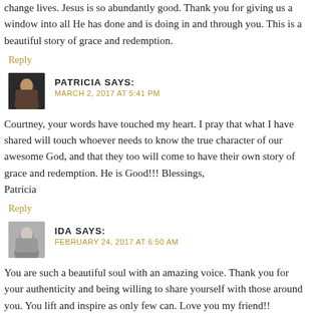change lives. Jesus is so abundantly good. Thank you for giving us a window into all He has done and is doing in and through you. This is a beautiful story of grace and redemption.
Reply
PATRICIA SAYS:
MARCH 2, 2017 AT 5:41 PM
Courtney, your words have touched my heart. I pray that what I have shared will touch whoever needs to know the true character of our awesome God, and that they too will come to have their own story of grace and redemption. He is Good!!! Blessings,
Patricia
Reply
IDA SAYS:
FEBRUARY 24, 2017 AT 6:50 AM
You are such a beautiful soul with an amazing voice. Thank you for your authenticity and being willing to share yourself with those around you. You lift and inspire as only few can. Love you my friend!!